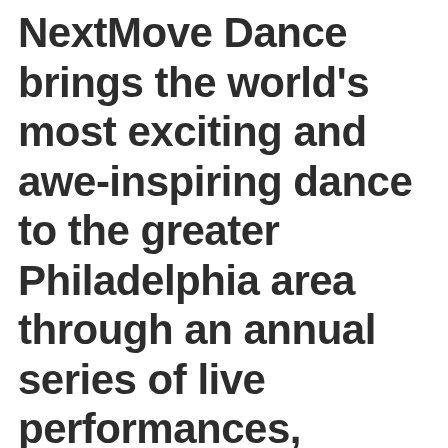NextMove Dance brings the world's most exciting and awe-inspiring dance to the greater Philadelphia area through an annual series of live performances, interactive outreach and arts education programming, and original